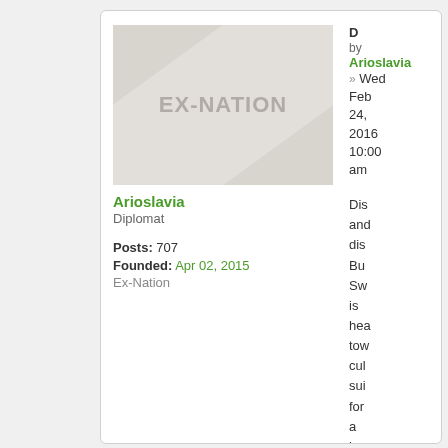[Figure (illustration): Forum user card with EX-NATION avatar image placeholder]
Arioslavia
Diplomat
Posts: 707
Founded: Apr 02, 2015
Ex-Nation
D by Arioslavia » Wed Feb 24, 2016 10:00 am
Dis and dis Bu Sw is hea tow cul sui for a lon tim so no